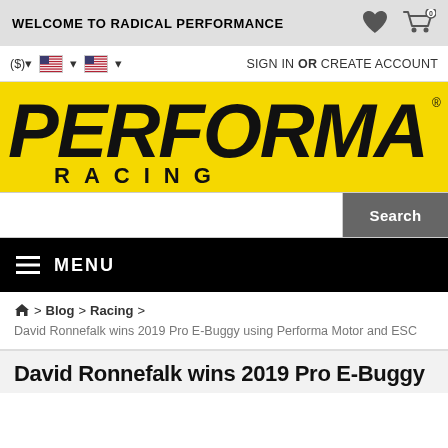WELCOME TO RADICAL PERFORMANCE
($) ▾  🇺🇸 ▾  🇺🇸 ▾  SIGN IN  OR  CREATE ACCOUNT
[Figure (logo): Performa Racing logo — bold black italic text on yellow background]
Search
≡ MENU
🏠 > Blog > Racing >
David Ronnefalk wins 2019 Pro E-Buggy using Performa Motor and ESC
David Ronnefalk wins 2019 Pro E-Buggy